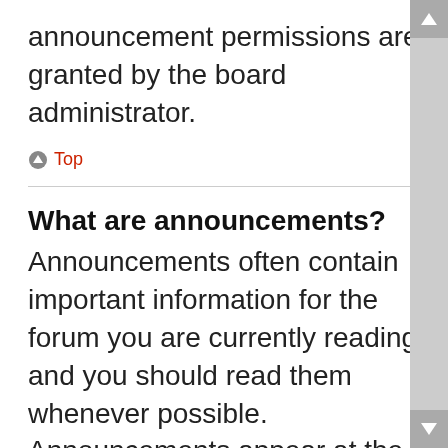announcement permissions are granted by the board administrator.
Top
What are announcements?
Announcements often contain important information for the forum you are currently reading and you should read them whenever possible. Announcements appear at the top of every page in the forum to which they are posted. As